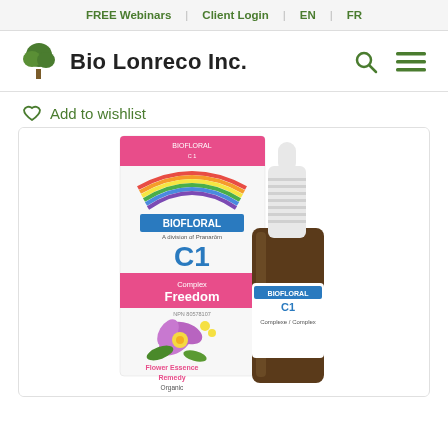FREE Webinars | Client Login | EN | FR
[Figure (logo): Bio Lonreco Inc. logo with tree icon, search icon, and hamburger menu icon]
Add to wishlist
[Figure (photo): Biofloral C1 Complex Freedom Flower Essence Remedy Organic 20ml product box and dropper bottle]